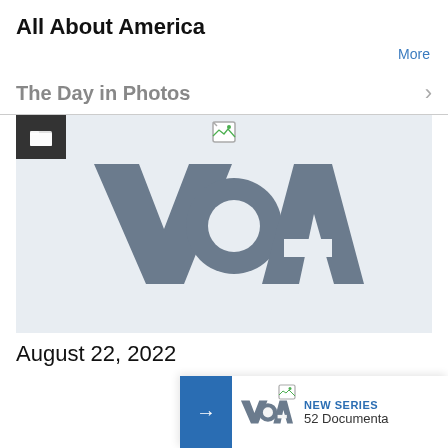All About America
More
The Day in Photos
[Figure (screenshot): VOA (Voice of America) logo displayed in gray on a light gray background, inside a card with a dark folder icon in the top-left corner and a small broken image icon at the top center.]
August 22, 2022
NEW SERIES
52 Documenta